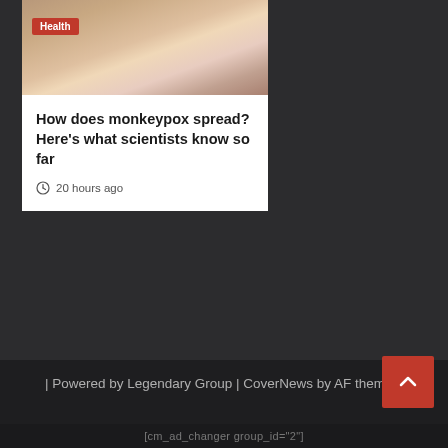[Figure (photo): Article card with a photo of a person wearing a floral dress, with a red Health badge, and article text below]
How does monkeypox spread? Here's what scientists know so far
20 hours ago
Home   Fitness   Health   Nutrition   Recipes   Weight Lifting   Advertise
| Powered by Legendary Group | CoverNews by AF themes.
[cm_ad_changer group_id="2"]